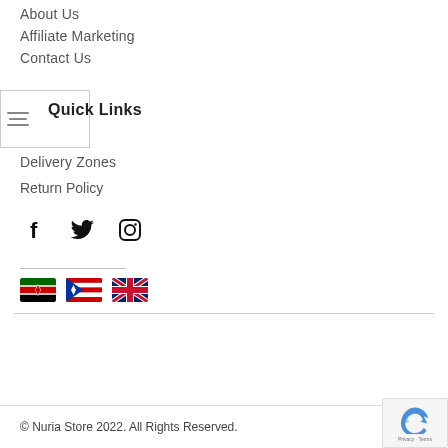About Us
Affiliate Marketing
Contact Us
Quick Links
Delivery Zones
Return Policy
[Figure (infographic): Social media icons: Facebook (f), Twitter (bird), Instagram (camera)]
[Figure (infographic): Three country flag icons: Kenya, Puerto Rico (or similar), United Kingdom]
© Nuria Store 2022. All Rights Reserved.